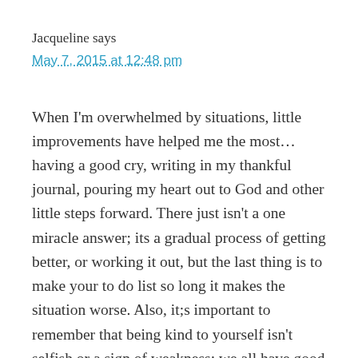Jacqueline says
May 7, 2015 at 12:48 pm
When I'm overwhelmed by situations, little improvements have helped me the most... having a good cry, writing in my thankful journal, pouring my heart out to God and other little steps forward. There just isn't a one miracle answer; its a gradual process of getting better, or working it out, but the last thing is to make your to do list so long it makes the situation worse. Also, it;s important to remember that being kind to yourself isn't selfish or a sign of weakness; we all have good and bad temperaments and ways we behave... i know when its bad i am